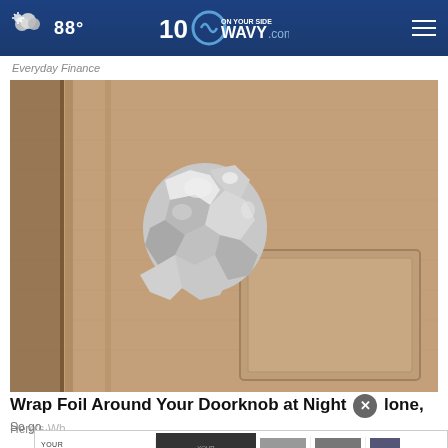88° WAVY.com ON YOUR SIDE
Everyday Finance
[Figure (photo): Close-up photo of a door knob wrapped in aluminum foil on a wooden door]
Wrap Foil Around Your Doorknob at Night If Alone, Here's Why
So go...
[Figure (screenshot): Sweetwater advertisement banner showing 'YOUR PERFECT SOUND' with product prices $29.00, $69.00, $1.6]